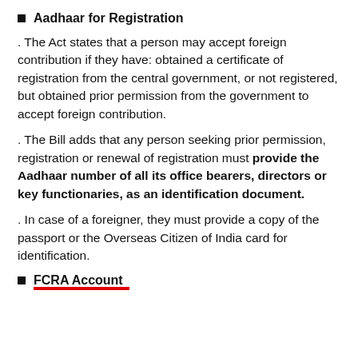Aadhaar for Registration
. The Act states that a person may accept foreign contribution if they have: obtained a certificate of registration from the central government, or not registered, but obtained prior permission from the government to accept foreign contribution.
. The Bill adds that any person seeking prior permission, registration or renewal of registration must provide the Aadhaar number of all its office bearers, directors or key functionaries, as an identification document.
. In case of a foreigner, they must provide a copy of the passport or the Overseas Citizen of India card for identification.
FCRA Account